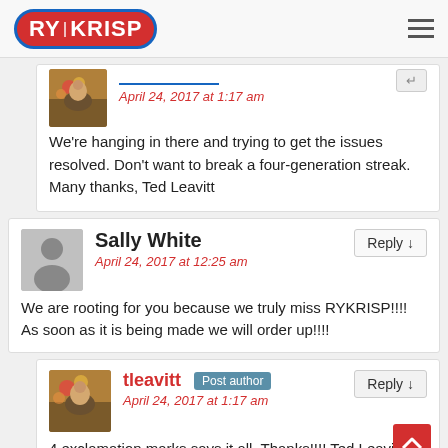RY KRISP logo and hamburger menu
April 24, 2017 at 1:17 am
We're hanging in there and trying to get the issues resolved. Don't want to break a four-generation streak. Many thanks, Ted Leavitt
Sally White
April 24, 2017 at 12:25 am
We are rooting for you because we truly miss RYKRISP!!!! As soon as it is being made we will order up!!!!
tleavitt Post author
April 24, 2017 at 1:17 am
4 exclamation marks says it all. Thanks!!!! Ted Leavitt